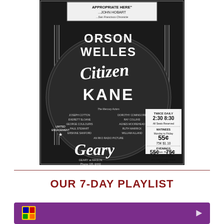[Figure (photo): Vintage black and white newspaper advertisement for Citizen Kane directed by Orson Welles, playing at the Geary Theatre at Mason, Phone OR.6440. Shows 'APPROPRIATE HERE ...JOHN HOBART ...San Francisco Chronicle' quote at top, large text ORSON WELLES CITIZEN KANE with Mercury Actors listed: Joseph Cotten, Dorothy Comingore, Everett Sloane, Ray Collins, George Coulouris, Agnes Moorehead, Paul Stewart, Ruth Warrick, Erskine Sanford, William Alland. Limited Engagement. Twice Daily 2:30 8:30. All Seats Reserved. Matinees Monday to Friday 55c, 75c, $1.10. Evenings Sat. Sun. Hol. Mat. 55c 75c, $1.10 a few at $1.65. Box Office Open 10 A.M. To 10 P.M.]
OUR 7-DAY PLAYLIST
[Figure (screenshot): Bottom purple/magenta banner, partially visible, showing streaming service interface.]